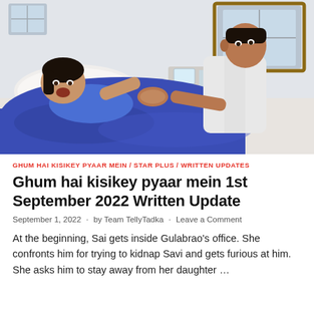[Figure (photo): A woman lying in a hospital bed wearing a blue outfit, holding hands with a man in a white shirt sitting beside her. Room with window in background.]
GHUM HAI KISIKEY PYAAR MEIN / STAR PLUS / WRITTEN UPDATES
Ghum hai kisikey pyaar mein 1st September 2022 Written Update
September 1, 2022 · by Team TellyTadka · Leave a Comment
At the beginning, Sai gets inside Gulabrao's office. She confronts him for trying to kidnap Savi and gets furious at him. She asks him to stay away from her daughter ...